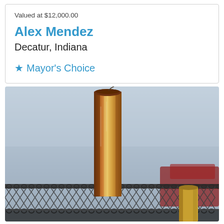Valued at $12,000.00
Alex Mendez
Decatur, Indiana
★ Mayor's Choice
[Figure (photo): Close-up photograph of a tall copper pipe or post standing vertically, with light reflecting off its surface. In the background is a chain-link fence and a partially visible red vehicle, set against a light blue-grey sky.]